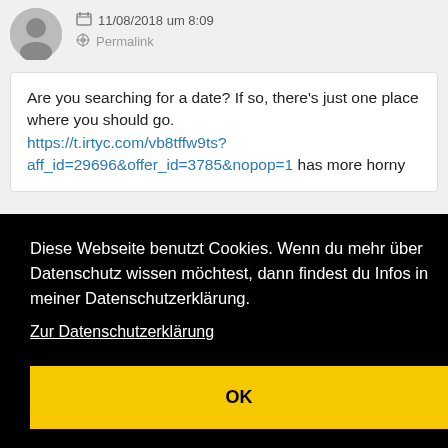11/08/2018 um 8:09
Permalink
Are you searching for a date? If so, there’s just one place where you should go. https://t.irtyc.com/vb8tffw9ts?aff_id=29696&offer_id=3785&nopop=1 has more horny [...]e and who put
Diese Webseite benutzt Cookies. Wenn du mehr über Datenschutz wissen möchtest, dann findest du Infos in meiner Datenschutzerklärung. Zur Datenschutzerklärung
OK